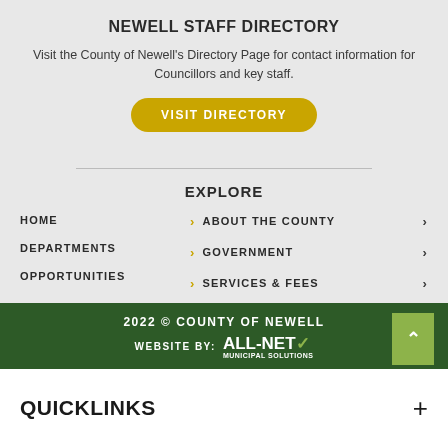NEWELL STAFF DIRECTORY
Visit the County of Newell's Directory Page for contact information for Councillors and key staff.
[Figure (other): Yellow rounded rectangle button labeled VISIT DIRECTORY]
EXPLORE
HOME
DEPARTMENTS
OPPORTUNITIES
ABOUT THE COUNTY
GOVERNMENT
SERVICES & FEES
2022 © COUNTY OF NEWELL
WEBSITE BY: all-net municipal solutions
QUICKLINKS